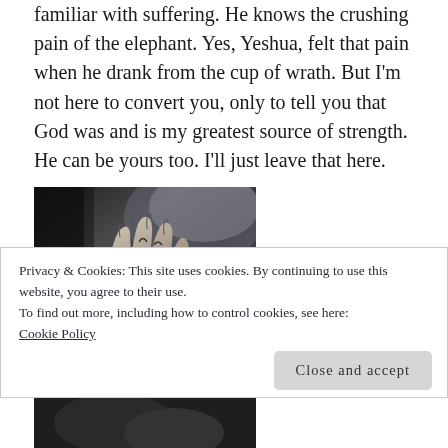familiar with suffering. He knows the crushing pain of the elephant. Yes, Yeshua, felt that pain when he drank from the cup of wrath. But I'm not here to convert you, only to tell you that God was and is my greatest source of strength. He can be yours too. I'll just leave that here.
[Figure (photo): Black and white photo of hands pressed together in prayer, with tattoos visible on the fingers and hands, dark background.]
Privacy & Cookies: This site uses cookies. By continuing to use this website, you agree to their use.
To find out more, including how to control cookies, see here: Cookie Policy
Close and accept
[Figure (photo): Black and white photo, partially visible at the bottom of the page, dark tones.]